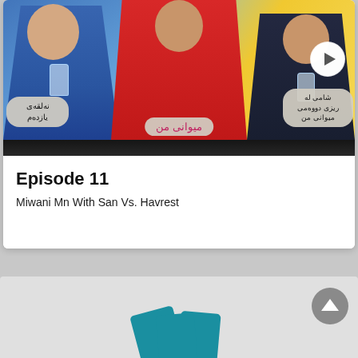[Figure (screenshot): TV show thumbnail image showing three people (man in blue shirt on left, woman in red in center, woman in dark blue on right) against a colorful yellow and blue background with Arabic text bubbles and a play button overlay. The show appears to be called 'Miwani Mn' Episode 11.]
Episode 11
Miwani Mn With San Vs. Havrest
[Figure (illustration): Bottom section showing a gray background with teal/blue card shapes at the bottom and a circular scroll-up button (chevron/arrow up icon) on the right side.]